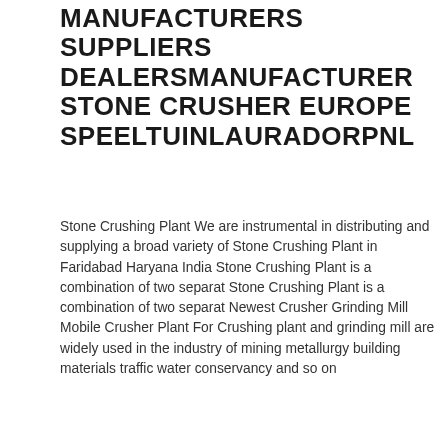MANUFACTURERS SUPPLIERS DEALERSMANUFACTURER STONE CRUSHER EUROPE SPEELTUINLAURADORPNL
Stone Crushing Plant We are instrumental in distributing and supplying a broad variety of Stone Crushing Plant in Faridabad Haryana India Stone Crushing Plant is a combination of two separat Stone Crushing Plant is a combination of two separat Newest Crusher Grinding Mill Mobile Crusher Plant For Crushing plant and grinding mill are widely used in the industry of mining metallurgy building materials traffic water conservancy and so on
[Figure (other): Blue LIVE CHAT button]
[Figure (other): Small broken image icon]
STONE CRUSHER PLANT ALAMAT BIRRUM AFRICAP